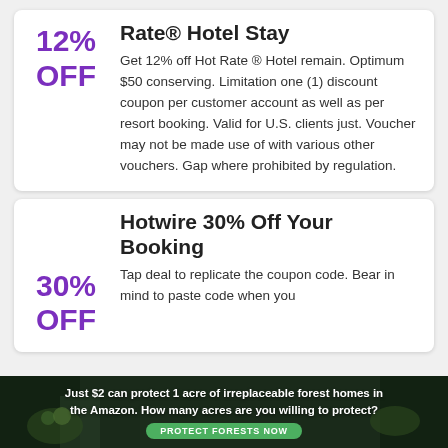Rate® Hotel Stay
12% OFF
Get 12% off Hot Rate ® Hotel remain. Optimum $50 conserving. Limitation one (1) discount coupon per customer account as well as per resort booking. Valid for U.S. clients just. Voucher may not be made use of with various other vouchers. Gap where prohibited by regulation.
Hotwire 30% Off Your Booking
30% OFF
Tap deal to replicate the coupon code. Bear in mind to paste code when you
[Figure (infographic): Advertisement banner with dark forest background. Text: 'Just $2 can protect 1 acre of irreplaceable forest homes in the Amazon. How many acres are you willing to protect?' with a green 'PROTECT FORESTS NOW' button.]